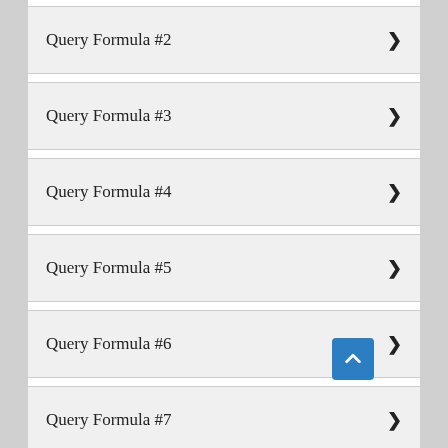Query Formula #2
Query Formula #3
Query Formula #4
Query Formula #5
Query Formula #6
Query Formula #7
Notice that each of these search query formulas